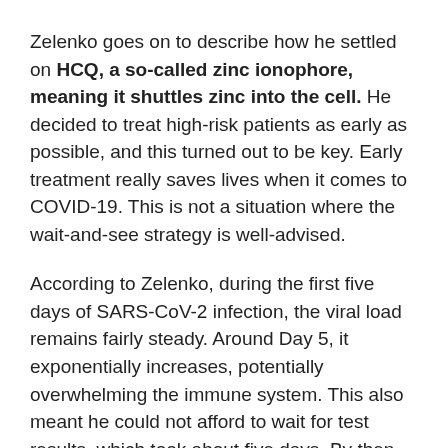Zelenko goes on to describe how he settled on HCQ, a so-called zinc ionophore, meaning it shuttles zinc into the cell. He decided to treat high-risk patients as early as possible, and this turned out to be key. Early treatment really saves lives when it comes to COVID-19. This is not a situation where the wait-and-see strategy is well-advised.
According to Zelenko, during the first five days of SARS-CoV-2 infection, the viral load remains fairly steady. Around Day 5, it exponentially increases, potentially overwhelming the immune system. This also meant he could not afford to wait for test results, which took about five days. By then, most patients would already have progressed too far.